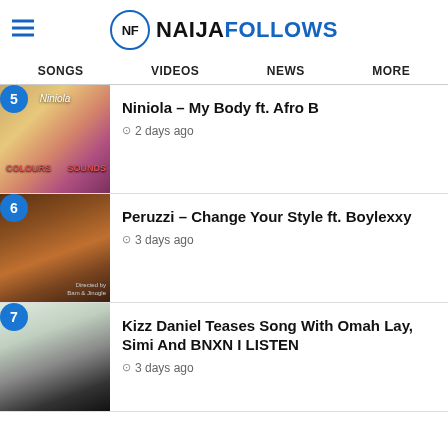NF NAIJAFOLLOWS
SONGS
VIDEOS
NEWS
MORE
5 Niniola – My Body ft. Afro B  2 days ago
6 Peruzzi – Change Your Style ft. Boylexxy  3 days ago
7 Kizz Daniel Teases Song With Omah Lay, Simi And BNXN I LISTEN  3 days ago